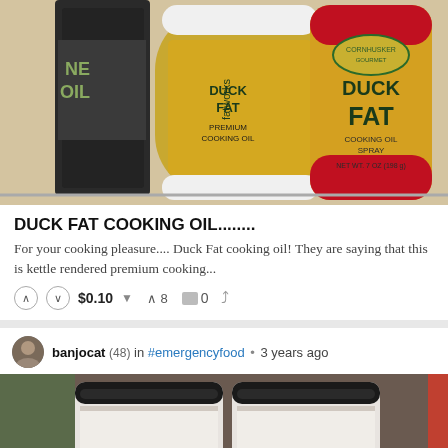[Figure (photo): Two duck fat cooking oil products on a store shelf: Fatworks Duck Fat Premium Cooking Oil jar and Cornhusker Gourmet Duck Fat Cooking Oil Spray can]
DUCK FAT COOKING OIL........
For your cooking pleasure.... Duck Fat cooking oil! They are saying that this is kettle rendered premium cooking...
$0.10  ↑ 8  0  share
banjocat (48) in #emergencyfood • 3 years ago
[Figure (photo): Jars of white rice or sugar stored in black-lidded mason jars on a shelf]